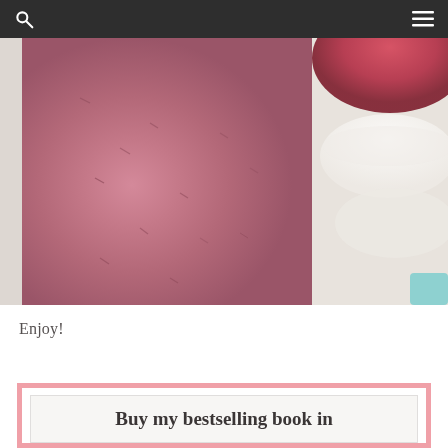[Figure (photo): Close-up photo of a pink/berry smoothie in a glass jar, with a bowl of raspberries and a white bowl visible in the background on the right side, and a teal accent at the bottom right.]
Enjoy!
Buy my bestselling book in